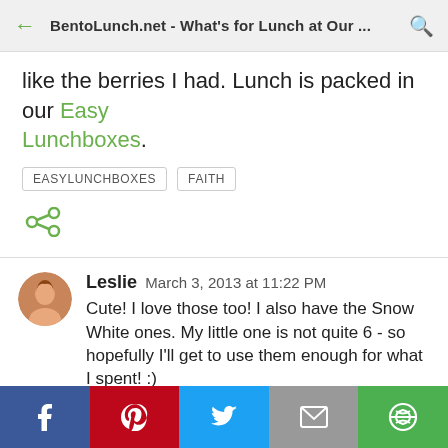BentoLunch.net - What's for Lunch at Our ...
like the berries I had. Lunch is packed in our Easy Lunchboxes.
EASYLUNCHBOXES
FAITH
[Figure (infographic): Share icon (green)]
Leslie  March 3, 2013 at 11:22 PM
Cute! I love those too! I also have the Snow White ones. My little one is not quite 6 - so hopefully I'll get to use them enough for what I spent! :)
Facebook, Pinterest, Twitter, Email, Other share buttons